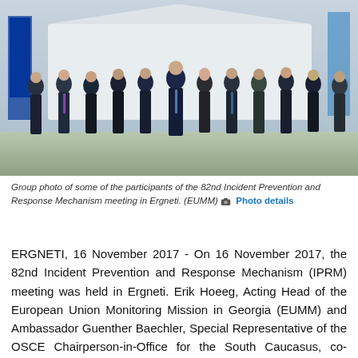[Figure (photo): Group photo of men and women in formal attire standing outdoors in front of a white structure with EU and UN flags visible. Approximately 12 participants posed together.]
Group photo of some of the participants of the 82nd Incident Prevention and Response Mechanism meeting in Ergneti. (EUMM) Photo details
ERGNETI, 16 November 2017 - On 16 November 2017, the 82nd Incident Prevention and Response Mechanism (IPRM) meeting was held in Ergneti. Erik Hoeeg, Acting Head of the European Union Monitoring Mission in Georgia (EUMM) and Ambassador Guenther Baechler, Special Representative of the OSCE Chairperson-in-Office for the South Caucasus, co-facilitated the event.